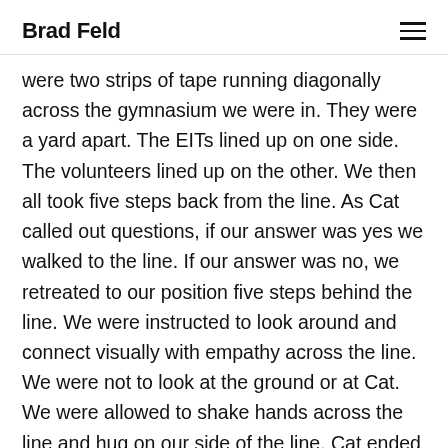Brad Feld
were two strips of tape running diagonally across the gymnasium we were in. They were a yard apart. The EITs lined up on one side. The volunteers lined up on the other. We then all took five steps back from the line. As Cat called out questions, if our answer was yes we walked to the line. If our answer was no, we retreated to our position five steps behind the line. We were instructed to look around and connect visually with empathy across the line. We were not to look at the ground or at Cat. We were allowed to shake hands across the line and hug on our side of the line. Cat ended by reminding us that the dominant emotion we should be carrying is empathy.